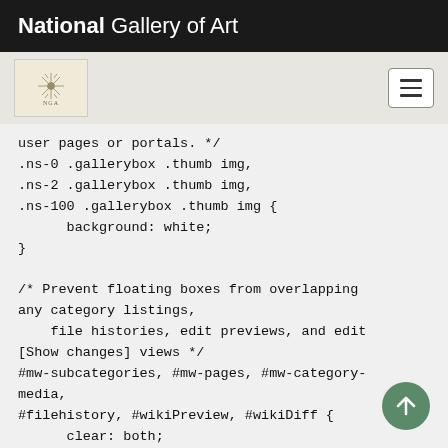National Gallery of Art
[Figure (logo): NGA logo with decorative snowflake/star design on cream background, and hamburger menu button on the right]
user pages or portals. */
.ns-0 .gallerybox .thumb img,
.ns-2 .gallerybox .thumb img,
.ns-100 .gallerybox .thumb img {
    background: white;
}

/* Prevent floating boxes from overlapping any category listings,
    file histories, edit previews, and edit [Show changes] views */
#mw-subcategories, #mw-pages, #mw-category-media,
#filehistory, #wikiPreview, #wikiDiff {
    clear: both;
}